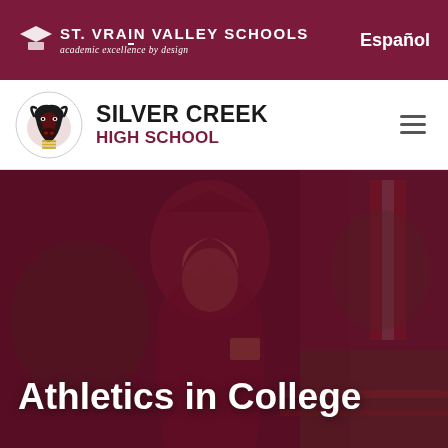St. Vrain Valley Schools — academic excellence by design | Español
SILVER CREEK HIGH SCHOOL
[Figure (photo): Female student in maroon graduation cap and gown smiling, holding diploma, standing in front of an American flag at an outdoor graduation ceremony. A dark maroon color overlay covers the entire image.]
Athletics in College